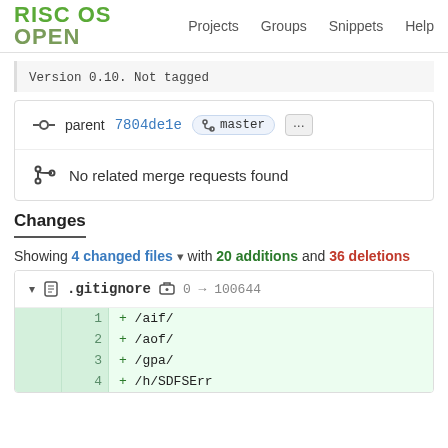RISC OS OPEN  Projects  Groups  Snippets  Help
Version 0.10. Not tagged
parent 7804de1e  master  ...
No related merge requests found
Changes
Showing 4 changed files with 20 additions and 36 deletions
.gitignore  0 → 100644
1  + /aif/
2  + /aof/
3  + /gpa/
4  + /h/SDFSErr